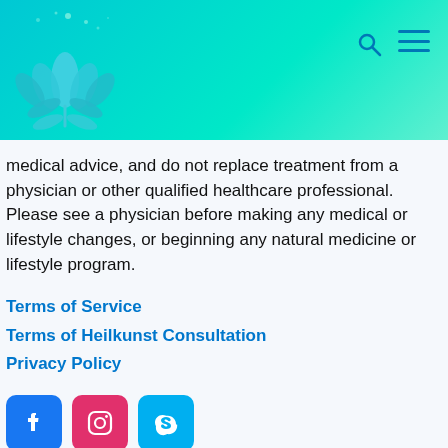[Figure (logo): Lotus flower icon in teal/cyan colors on gradient header bar]
medical advice, and do not replace treatment from a physician or other qualified healthcare professional. Please see a physician before making any medical or lifestyle changes, or beginning any natural medicine or lifestyle program.
Terms of Service
Terms of Heilkunst Consultation
Privacy Policy
[Figure (logo): Social media icons: Facebook (blue), Instagram (pink/red), Skype (light blue)]